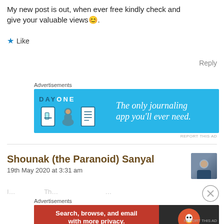My new post is out, when ever free kindly check and give your valuable views 😊.
★ Like
Reply
Advertisements
[Figure (screenshot): Day One journaling app advertisement banner. Blue background with 'DAY ONE' text, three illustrated icons (door, person, notebook), and tagline 'The only journaling app you'll ever need.']
REPORT THIS AD
Shounak (the Paranoid) Sanyal
19th May 2020 at 3:31 am
[Figure (photo): User avatar photo of a person in dark clothing]
Advertisements
[Figure (screenshot): DuckDuckGo advertisement. Red background with text 'Search, browse, and email with more privacy. All in One Free App' and DuckDuckGo logo on dark right panel.]
REPORT THIS AD